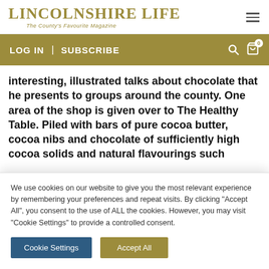LINCOLNSHIRE LIFE — The County's Favourite Magazine
LOG IN | SUBSCRIBE
interesting, illustrated talks about chocolate that he presents to groups around the county. One area of the shop is given over to The Healthy Table. Piled with bars of pure cocoa butter, cocoa nibs and chocolate of sufficiently high cocoa solids and natural flavourings such
We use cookies on our website to give you the most relevant experience by remembering your preferences and repeat visits. By clicking "Accept All", you consent to the use of ALL the cookies. However, you may visit "Cookie Settings" to provide a controlled consent.